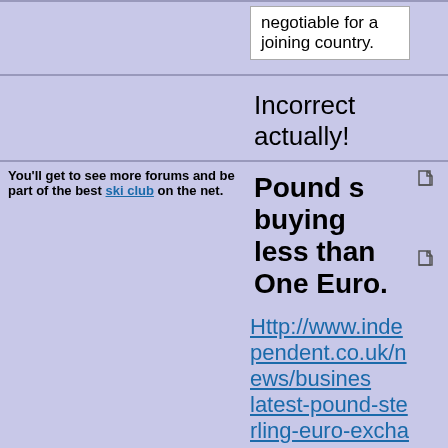negotiable for a joining country.
Incorrect actually!
You'll get to see more forums and be part of the best ski club on the net.
Pound s buying less than One Euro.
Http://www.independent.co.uk/news/business/latest-pound-sterling-euro-exchange-rate-drop-airports-bureaux-de-change-a7196001.html
Ski the Net with snowHeads 😀
stanton wrote:
Pound s buying less than One Euro, IN AIRPORTS
Fixed your post for you. I've always been amazed at people changing money in airports or waiting until they get to their destination. Utter madness. I even laugh at people